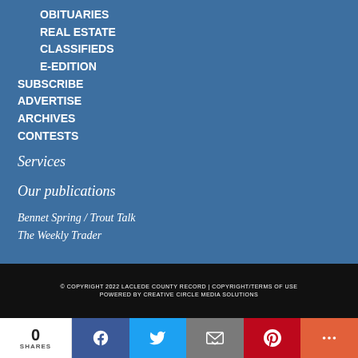OBITUARIES
REAL ESTATE
CLASSIFIEDS
E-EDITION
SUBSCRIBE
ADVERTISE
ARCHIVES
CONTESTS
Services
Our publications
Bennet Spring / Trout Talk
The Weekly Trader
© COPYRIGHT 2022 LACLEDE COUNTY RECORD | COPYRIGHT/TERMS OF USE POWERED BY CREATIVE CIRCLE MEDIA SOLUTIONS
0 SHARES